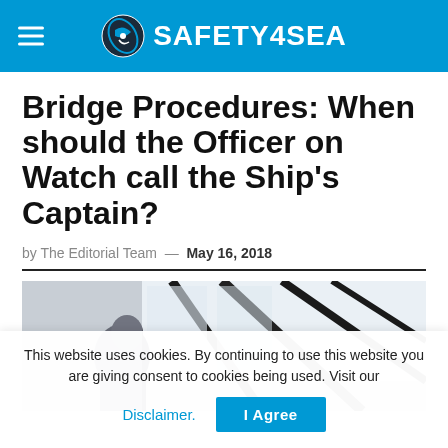SAFETY4SEA
Bridge Procedures: When should the Officer on Watch call the Ship's Captain?
by The Editorial Team — May 16, 2018
[Figure (photo): A person on a ship bridge looking through windows]
This website uses cookies. By continuing to use this website you are giving consent to cookies being used. Visit our Disclaimer. I Agree